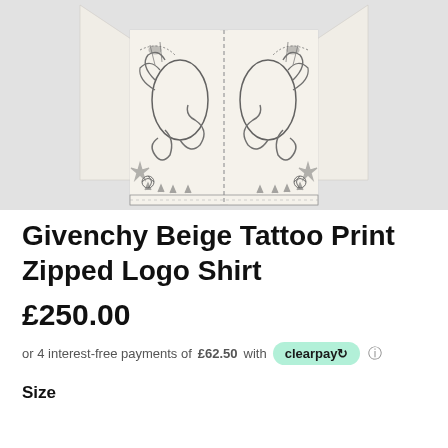[Figure (photo): Product photo of a Givenchy Beige Tattoo Print Zipped Logo Shirt laid flat, showing elaborate scorpion, snake, spider web, and floral tattoo print graphics on a beige/cream fabric, photographed against a light grey background.]
Givenchy Beige Tattoo Print Zipped Logo Shirt
£250.00
or 4 interest-free payments of £62.50 with clearpay
Size